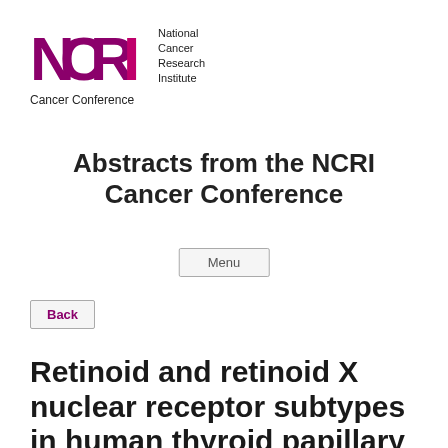[Figure (logo): NCRI National Cancer Research Institute Cancer Conference logo with purple/magenta NCRI text graphic]
Abstracts from the NCRI Cancer Conference
Menu
Back
Retinoid and retinoid X nuclear receptor subtypes in human thyroid papillary